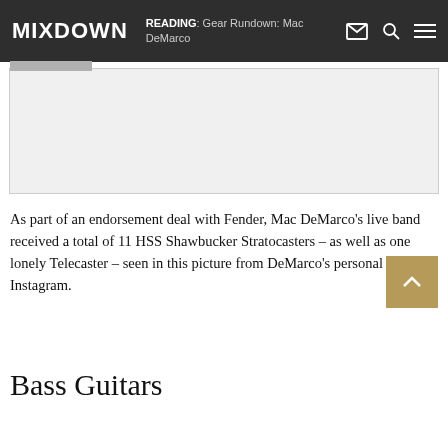MIXDOWN  READING: Gear Rundown: Mac DeMarco
[Figure (photo): Photo placeholder area showing guitars, partially visible, with a light gray background and border]
As part of an endorsement deal with Fender, Mac DeMarco's live band received a total of 11 HSS Shawbucker Stratocasters – as well as one lonely Telecaster – seen in this picture from DeMarco's personal Instagram.
Bass Guitars